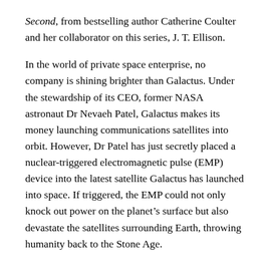Second, from bestselling author Catherine Coulter and her collaborator on this series, J. T. Ellison.
In the world of private space enterprise, no company is shining brighter than Galactus. Under the stewardship of its CEO, former NASA astronaut Dr Nevaeh Patel, Galactus makes its money launching communications satellites into orbit. However, Dr Patel has just secretly placed a nuclear-triggered electromagnetic pulse (EMP) device into the latest satellite Galactus has launched into space. If triggered, the EMP could not only knock out power on the planet’s surface but also devastate the satellites surrounding Earth, throwing humanity back to the Stone Age.